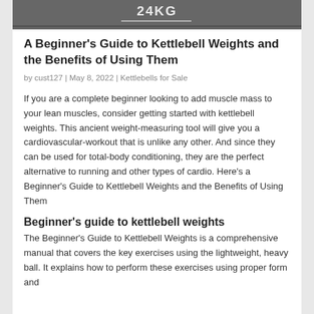[Figure (photo): Top portion of a kettlebell showing '24KG' label on a grey background]
A Beginner's Guide to Kettlebell Weights and the Benefits of Using Them
by cust127 | May 8, 2022 | Kettlebells for Sale
If you are a complete beginner looking to add muscle mass to your lean muscles, consider getting started with kettlebell weights. This ancient weight-measuring tool will give you a cardiovascular-workout that is unlike any other. And since they can be used for total-body conditioning, they are the perfect alternative to running and other types of cardio. Here's a Beginner's Guide to Kettlebell Weights and the Benefits of Using Them
Beginner's guide to kettlebell weights
The Beginner's Guide to Kettlebell Weights is a comprehensive manual that covers the key exercises using the lightweight, heavy ball. It explains how to perform these exercises using proper form and